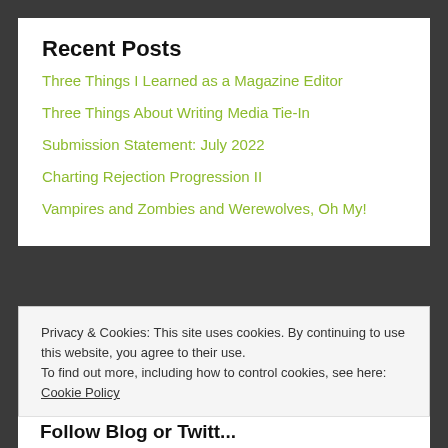Recent Posts
Three Things I Learned as a Magazine Editor
Three Things About Writing Media Tie-In
Submission Statement: July 2022
Charting Rejection Progression II
Vampires and Zombies and Werewolves, Oh My!
Privacy & Cookies: This site uses cookies. By continuing to use this website, you agree to their use.
To find out more, including how to control cookies, see here: Cookie Policy
Close and accept